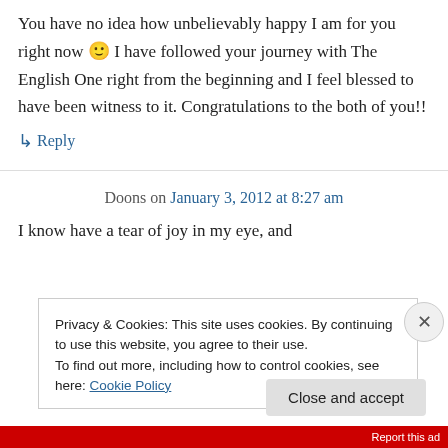You have no idea how unbelievably happy I am for you right now 🙂 I have followed your journey with The English One right from the beginning and I feel blessed to have been witness to it. Congratulations to the both of you!!
↳ Reply
Doons on January 3, 2012 at 8:27 am
I know have a tear of joy in my eye, and
Privacy & Cookies: This site uses cookies. By continuing to use this website, you agree to their use. To find out more, including how to control cookies, see here: Cookie Policy
Close and accept